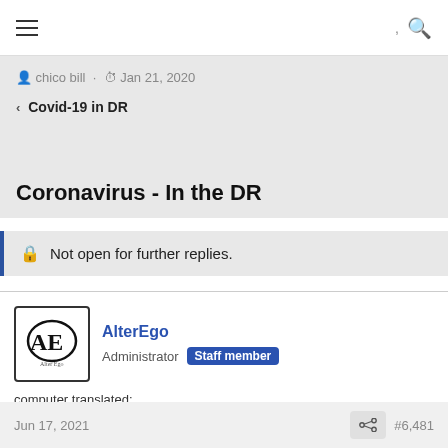≡  ,  🔍
chico bill · Jan 21, 2020
< Covid-19 in DR
Coronavirus - In the DR
🔒 Not open for further replies.
AlterEgo
Administrator  Staff member
Jun 17, 2021  #6,481
computer translated: